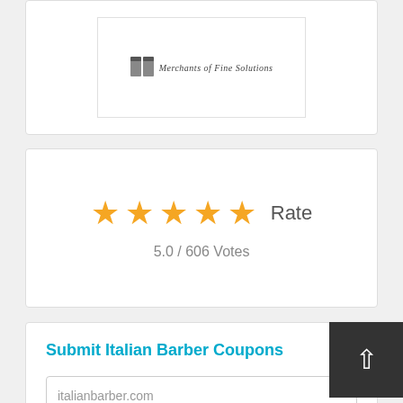[Figure (logo): Italian Barber logo with icon and text 'Merchants of Fine Solutions']
★★★★★ Rate
5.0 / 606 Votes
Submit Italian Barber Coupons
italianbarber.com
Coupon Title
Code
Description
Expiration